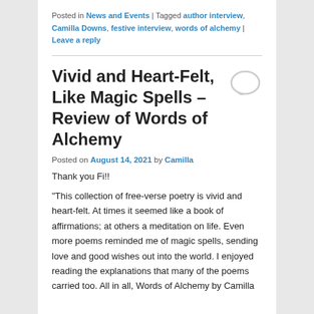Posted in News and Events | Tagged author interview, Camilla Downs, festive interview, words of alchemy | Leave a reply
Vivid and Heart-Felt, Like Magic Spells – Review of Words of Alchemy
Posted on August 14, 2021 by Camilla
Thank you Fi!!
“This collection of free-verse poetry is vivid and heart-felt. At times it seemed like a book of affirmations; at others a meditation on life. Even more poems reminded me of magic spells, sending love and good wishes out into the world. I enjoyed reading the explanations that many of the poems carried too. All in all, Words of Alchemy by Camilla